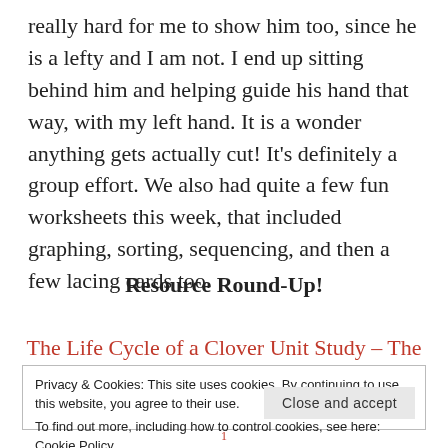really hard for me to show him too, since he is a lefty and I am not. I end up sitting behind him and helping guide his hand that way, with my left hand. It is a wonder anything gets actually cut! It's definitely a group effort. We also had quite a few fun worksheets this week, that included graphing, sorting, sequencing, and then a few lacing cards too.
Resource Round-Up!
The Life Cycle of a Clover Unit Study – The
Privacy & Cookies: This site uses cookies. By continuing to use this website, you agree to their use.
To find out more, including how to control cookies, see here: Cookie Policy
Close and accept